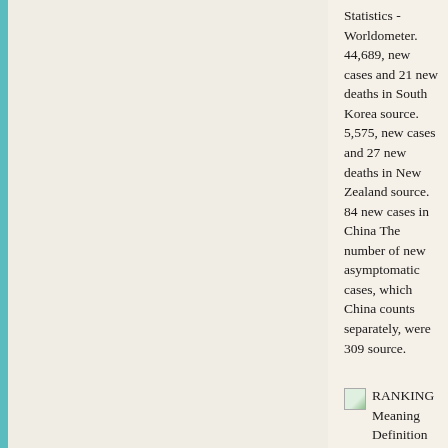Statistics - Worldometer. 44,689, new cases and 21 new deaths in South Korea source. 5,575, new cases and 27 new deaths in New Zealand source. 84 new cases in China The number of new asymptomatic cases, which China counts separately, were 309 source.
[Figure (illustration): Small broken/placeholder image icon]
RANKING Meaning Definition for UK English Lexico.com. 'It' is important to note that the pre-qualification process for the Queensway-Carleton Hospital Project did not involve ranking of the successful contractors. 'An' alternative point of comparison is Towe's' ranking of accounting, finance and commerce departments over the period 1990 to 1994.